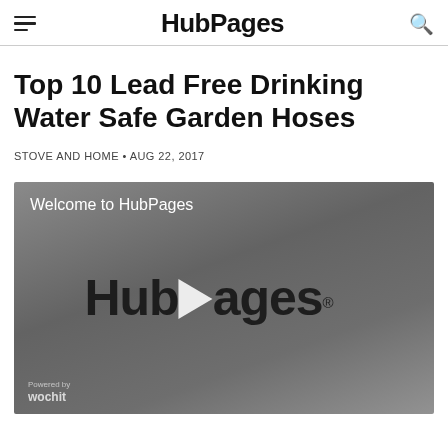HubPages
Top 10 Lead Free Drinking Water Safe Garden Hoses
STOVE AND HOME • AUG 22, 2017
[Figure (screenshot): Video player thumbnail showing HubPages logo with play button and text 'Welcome to HubPages'. Wochit branding at bottom left.]